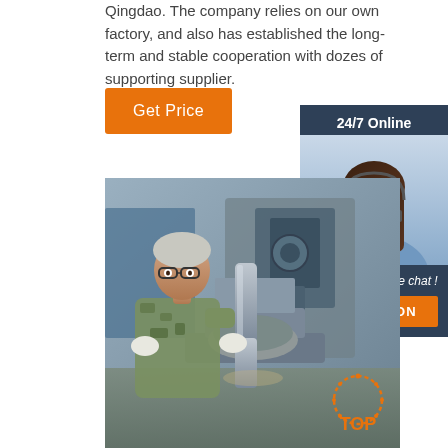Qingdao. The company relies on our own factory, and also has established the long-term and stable cooperation with dozes of supporting supplier.
Get Price
[Figure (photo): Customer service representative with headset, smiling — 24/7 Online chat widget with 'Click here for free chat!' and QUOTATION button]
[Figure (photo): Factory worker in camouflage shirt operating heavy metal pressing equipment in an industrial workshop]